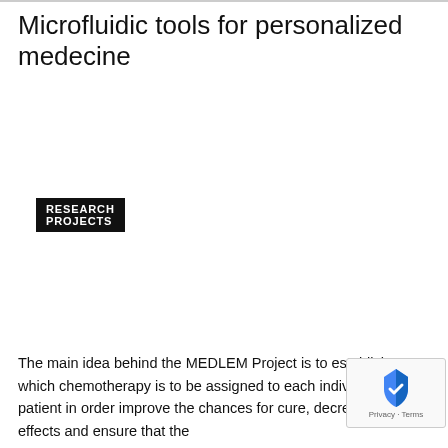Microfluidic tools for personalized medecine
RESEARCH PROJECTS
The main idea behind the MEDLEM Project is to establish which chemotherapy is to be assigned to each individual patient in order improve the chances for cure, decrease side effects and ensure that the